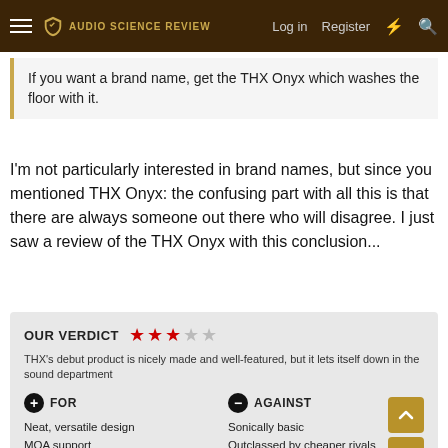Audio Science Review — Log in  Register
If you want a brand name, get the THX Onyx which washes the floor with it.
I'm not particularly interested in brand names, but since you mentioned THX Onyx: the confusing part with all this is that there are always someone out there who will disagree. I just saw a review of the THX Onyx with this conclusion...
[Figure (infographic): OUR VERDICT card with 3 out of 5 stars rating. Description: THX's debut product is nicely made and well-featured, but it lets itself down in the sound department. FOR: Neat, versatile design; MQA support; Adds power, clarity and cleanliness. AGAINST: Sonically basic; Outclassed by cheaper rivals.]